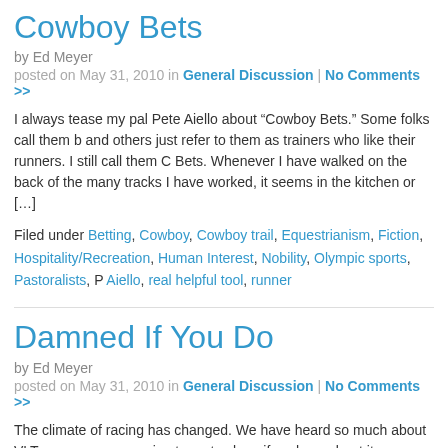Cowboy Bets
by Ed Meyer
posted on May 31, 2010 in General Discussion | No Comments >>
I always tease my pal Pete Aiello about “Cowboy Bets.” Some folks call them b and others just refer to them as trainers who like their runners. I still call them C Bets. Whenever I have walked on the back of the many tracks I have worked, it seems in the kitchen or […]
Filed under Betting, Cowboy, Cowboy trail, Equestrianism, Fiction, Hospitality/Recreation, Human Interest, Nobility, Olympic sports, Pastoralists, P Aiello, real helpful tool, runner
Damned If You Do
by Ed Meyer
posted on May 31, 2010 in General Discussion | No Comments >>
The climate of racing has changed. We have heard so much about VLT expans we are going to go to sleep if we hear about it once more. But for the folks at tr have worked so hard to get them in place, they might just be in for a big surpris there […]
Filed under American folk songs, Horse Racing, Human Interest, Kentucky, Mo Ohio, West Virginia